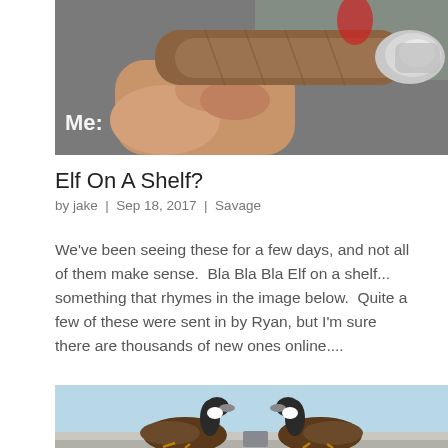[Figure (photo): Close-up photo of a hand holding a lit cigar with ash on the tip. White text 'Me:' visible in lower left corner of the image. A person in red is partially visible in the background.]
Elf On A Shelf?
by jake  |  Sep 18, 2017  |  Savage
We've been seeing these for a few days, and not all of them make sense.  Bla Bla Bla Elf on a shelf... something that rhymes in the image below.  Quite a few of these were sent in by Ryan, but I'm sure there are thousands of new ones online....
[Figure (illustration): Cartoon illustration of Canada geese sitting on what appears to be a ledge or surface against a light blue sky background.]